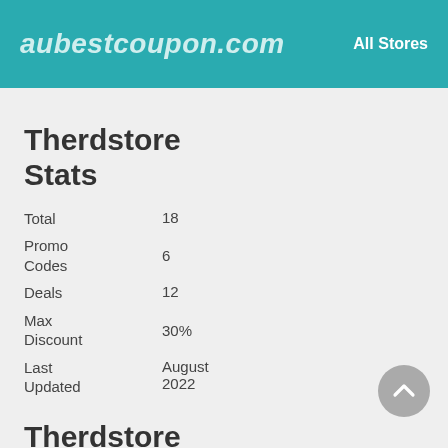aubestcoupon.com   All Stores
Therdstore Stats
|  |  |
| --- | --- |
| Total | 18 |
| Promo Codes | 6 |
| Deals | 12 |
| Max Discount | 30% |
| Last Updated | August 2022 |
Therdstore Top Coupon